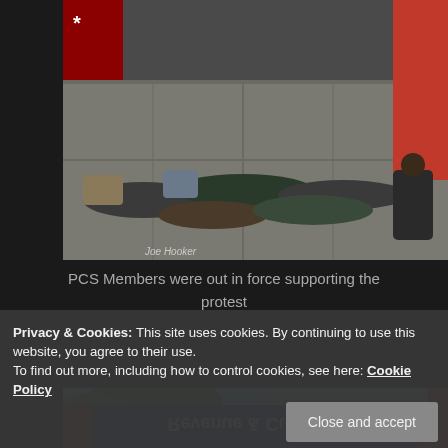[Figure (photo): Protesters lying on a pavement/sidewalk in a die-in protest, with a red union banner visible on the right side. Photo credit: Joe Hooker.]
PCS Members were out in force supporting the protest
[Figure (photo): Low-angle shot of trees and a large stone building against a blue sky, with a red banner visible on the right edge.]
Privacy & Cookies: This site uses cookies. By continuing to use this website, you agree to their use.
To find out more, including how to control cookies, see here: Cookie Policy
[Figure (photo): Upside-down Revenue & Customs banner/sign in blue and white.]